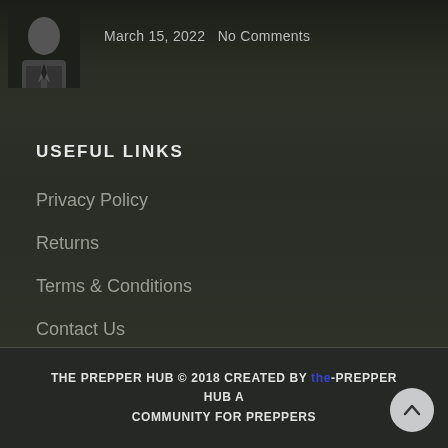[Figure (photo): Small portrait photo of an older man in a dark suit, top-left corner]
March 15, 2022   No Comments
USEFUL LINKS
Privacy Policy
Returns
Terms & Conditions
Contact Us
THE PREPPER HUB © 2018 CREATED BY the-PREPPER HUB A COMMUNITY FOR PREPPERS